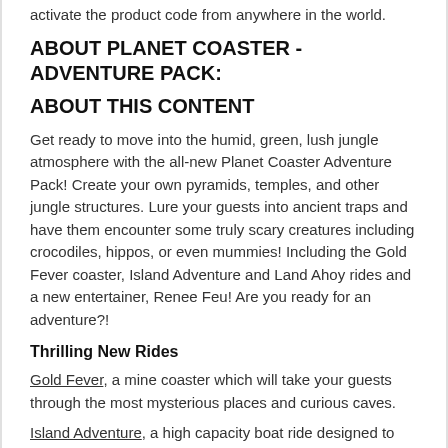activate the product code from anywhere in the world.
ABOUT PLANET COASTER - ADVENTURE PACK:
ABOUT THIS CONTENT
Get ready to move into the humid, green, lush jungle atmosphere with the all-new Planet Coaster Adventure Pack! Create your own pyramids, temples, and other jungle structures. Lure your guests into ancient traps and have them encounter some truly scary creatures including crocodiles, hippos, or even mummies! Including the Gold Fever coaster, Island Adventure and Land Ahoy rides and a new entertainer, Renee Feu! Are you ready for an adventure?!
Thrilling New Rides
Gold Fever, a mine coaster which will take your guests through the most mysterious places and curious caves.
Island Adventure, a high capacity boat ride designed to